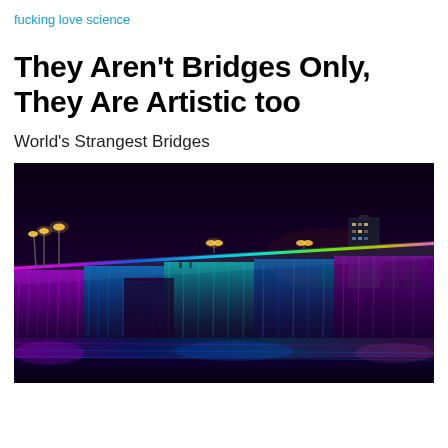fucking love science
They Aren't Bridges Only, They Are Artistic too
World's Strangest Bridges
[Figure (photo): Night photo of a bridge (Banpo Bridge in Seoul) illuminated with colorful rainbow LED lights and curtain waterfalls cascading down both sides, reflecting in the river below. Warm orange street lights line the bridge top, a skyscraper and city skyline visible in the background on the right.]